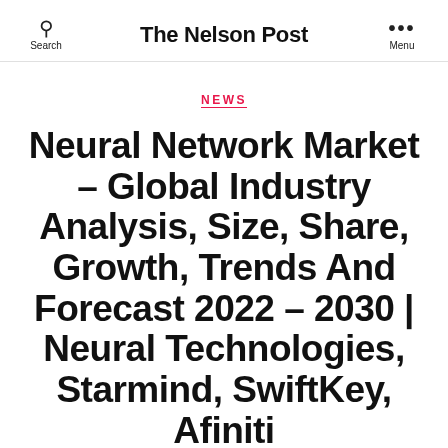The Nelson Post
NEWS
Neural Network Market – Global Industry Analysis, Size, Share, Growth, Trends And Forecast 2022 – 2030 | Neural Technologies, Starmind, SwiftKey, Afiniti